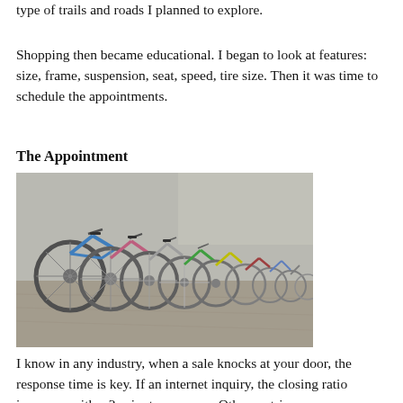type of trails and roads I planned to explore.
Shopping then became educational. I began to look at features: size, frame, suspension, seat, speed, tire size. Then it was time to schedule the appointments.
The Appointment
[Figure (photo): A row of colorful bicycles parked side by side, viewed from the front/side angle showing wheels and handlebars.]
I know in any industry, when a sale knocks at your door, the response time is key. If an internet inquiry, the closing ratio increases with a 2-minute response. Other metrics will...